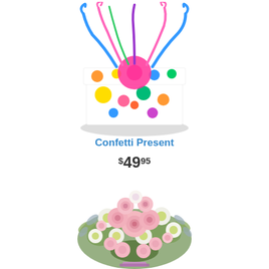[Figure (photo): Colorful polka-dot gift box with ribbons and streamers coming out of the top, on a white background with shadow]
Confetti Present
$49.95
[Figure (photo): Bouquet of pink roses and white chrysanthemums with greenery, arranged in a rounded cluster]